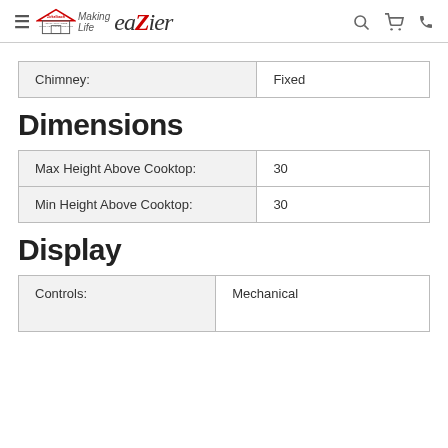Zirkelbach Home Appliances — Making Life eaZier
| Chimney: | Fixed |
| --- | --- |
| Chimney: | Fixed |
Dimensions
| Max Height Above Cooktop: | 30 |
| --- | --- |
| Max Height Above Cooktop: | 30 |
| Min Height Above Cooktop: | 30 |
Display
| Controls: | Mechanical |
| --- | --- |
| Controls: | Mechanical |